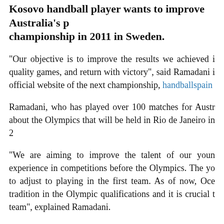Kosovo handball player wants to improve Australia's performance at the championship in 2011 in Sweden.
"Our objective is to improve the results we achieved in quality games, and return with victory", said Ramadani in official website of the next championship, handballspain...
Ramadani, who has played over 100 matches for Australia about the Olympics that will be held in Rio de Janeiro in 2...
"We are aiming to improve the talent of our young experience in competitions before the Olympics. The you to adjust to playing in the first team. As of now, Oce tradition in the Olympic qualifications and it is crucial t team", explained Ramadani.
Australia will be in Group D in the Championship competition from Croatia and Spain. However, Ramadan...